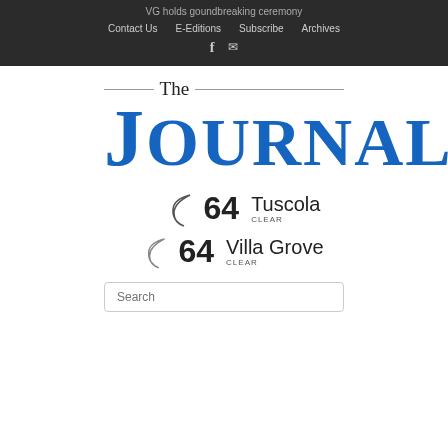VG holds goundbreaking ceremony
Contact Us | E-Editions | Subscribe | Archives
[Figure (logo): The Journal newspaper logo with blue JOURNAL text in serif font]
64 Tuscola CLEAR
64 Villa Grove CLEAR